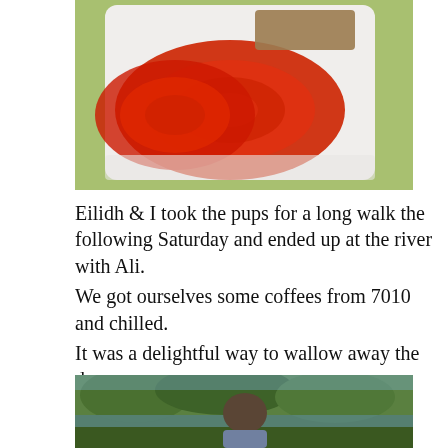[Figure (photo): Photo of a sandwich or open-faced food with red tomato slices on a white square plate, shot from above on a light blue/green background.]
Eilidh & I took the pups for a long walk the following Saturday and ended up at the river with Ali.
We got ourselves some coffees from 7010 and chilled.
It was a delightful way to wallow away the day.
[Figure (photo): Photo of a woman with sunglasses smiling outdoors near a river, surrounded by green trees and grass, wearing a grey cardigan.]